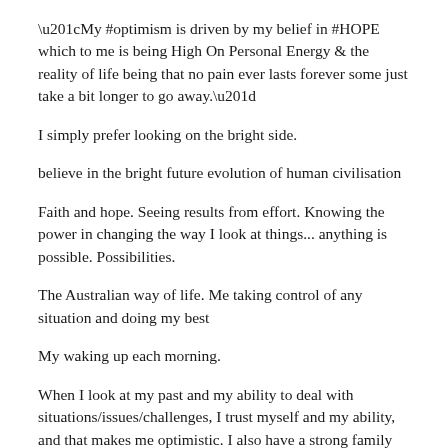“My #optimism is driven by my belief in #HOPE which to me is being High On Personal Energy & the reality of life being that no pain ever lasts forever some just take a bit longer to go away.”
I simply prefer looking on the bright side.
believe in the bright future evolution of human civilisation
Faith and hope. Seeing results from effort. Knowing the power in changing the way I look at things... anything is possible. Possibilities.
The Australian way of life. Me taking control of any situation and doing my best
My waking up each morning.
When I look at my past and my ability to deal with situations/issues/challenges, I trust myself and my ability, and that makes me optimistic. I also have a strong family network, and that support makes me know that things are going to be ok.